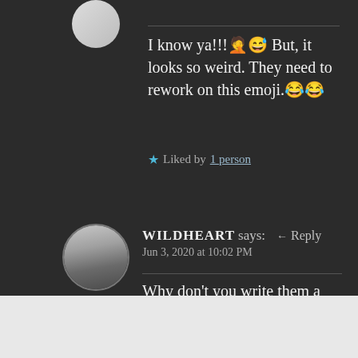I know ya!!! 🤦😅 But, it looks so weird. They need to rework on this emoji.😂😂
★ Liked by 1 person
WILDHEART says: ← Reply
Jun 3, 2020 at 10:02 PM
Why don't you write them a mail and send your version? 😍😍😍
Advertisements
[Figure (other): Advertisement banner: Launch your online course with WordPress — Learn More]